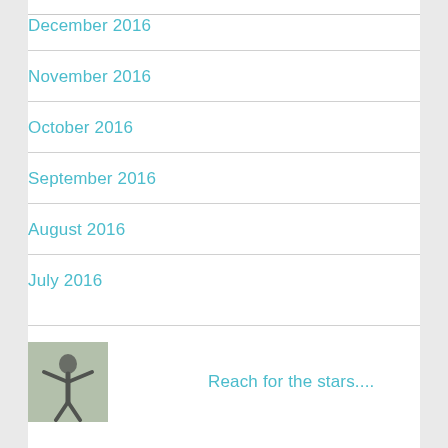December 2016
November 2016
October 2016
September 2016
August 2016
July 2016
[Figure (photo): Small thumbnail photo of a person with arms outstretched, outdoors, dark clothing against a light background]
Reach for the stars....